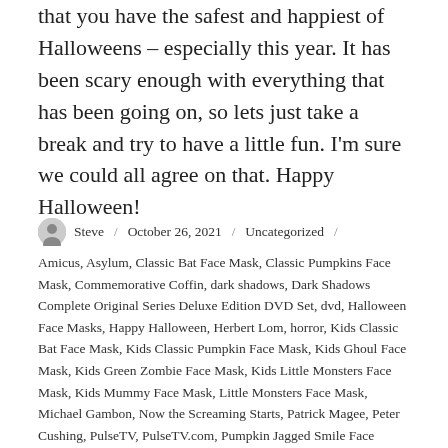that you have the safest and happiest of Halloweens – especially this year. It has been scary enough with everything that has been going on, so lets just take a break and try to have a little fun. I'm sure we could all agree on that. Happy Halloween!
Steve / October 26, 2021 / Uncategorized / Amicus, Asylum, Classic Bat Face Mask, Classic Pumpkins Face Mask, Commemorative Coffin, dark shadows, Dark Shadows Complete Original Series Deluxe Edition DVD Set, dvd, Halloween Face Masks, Happy Halloween, Herbert Lom, horror, Kids Classic Bat Face Mask, Kids Classic Pumpkin Face Mask, Kids Ghoul Face Mask, Kids Green Zombie Face Mask, Kids Little Monsters Face Mask, Kids Mummy Face Mask, Little Monsters Face Mask, Michael Gambon, Now the Screaming Starts, Patrick Magee, Peter Cushing, PulseTV, PulseTV.com, Pumpkin Jagged Smile Face Mask, Stephanie Beacham, Teeth Face Mask, television, The Amicus Collection on DVD, The